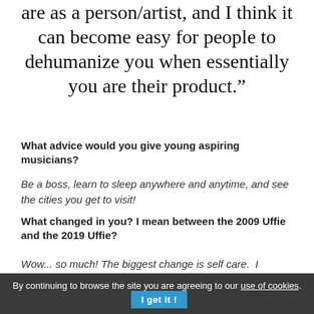are as a person/artist, and I think it can become easy for people to dehumanize you when essentially you are their product.”
What advice would you give young aspiring musicians?
Be a boss, learn to sleep anywhere and anytime, and see the cities you get to visit!
What changed in you? I mean between the 2009 Uffie and the 2019 Uffie?
Wow... so much! The biggest change is self care. I
By continuing to browse the site you are agreeing to our use of cookies. I get it!